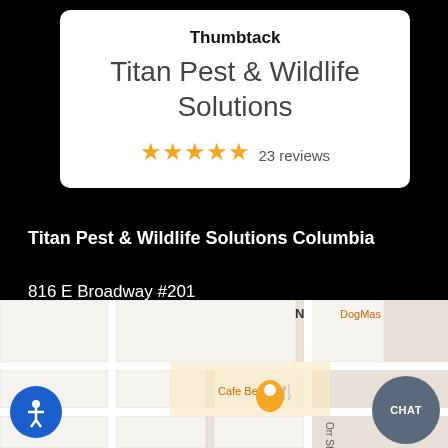[Figure (screenshot): Thumbtack listing card for Titan Pest & Wildlife Solutions showing brand name, business title, and 5-star rating with 23 reviews]
Titan Pest & Wildlife Solutions Columbia
816 E Broadway #201
Columbia, MO 65201
(573) 355-5056
[Figure (map): Street map showing location near Cafe Berlin and DogMas, with a map pin marker and chat button overlay]